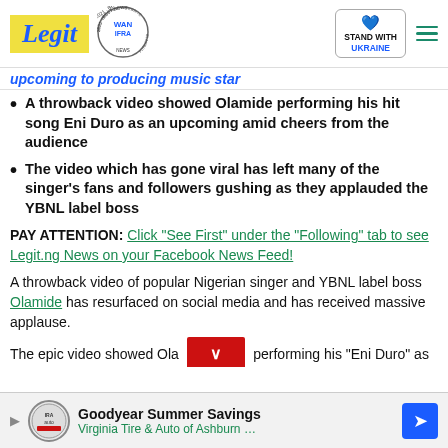Legit - WAN IFRA 2021 Best News Website in Africa - Stand with Ukraine
upcoming to producing music star
A throwback video showed Olamide performing his hit song Eni Duro as an upcoming amid cheers from the audience
The video which has gone viral has left many of the singer's fans and followers gushing as they applauded the YBNL label boss
PAY ATTENTION: Click “See First” under the “Following” tab to see Legit.ng News on your Facebook News Feed!
A throwback video of popular Nigerian singer and YBNL label boss Olamide has resurfaced on social media and has received massive applause.
The epic video showed Ola performing his “Eni Duro” as
[Figure (other): Red dropdown button with down arrow]
Goodyear Summer Savings - Virginia Tire & Auto of Ashburn ...